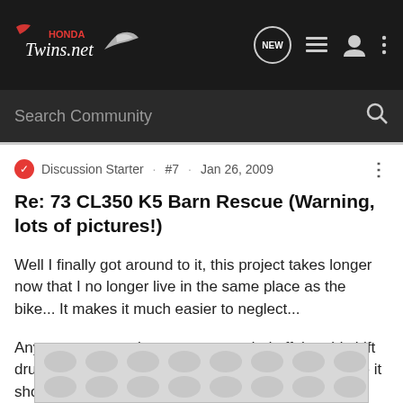[Figure (screenshot): HondaTwins.net website header navigation bar with logo, NEW bubble icon, list icon, user icon, and more options icon on dark background]
Search Community
Discussion Starter · #7 · Jan 26, 2009
Re: 73 CL350 K5 Barn Rescue (Warning, lots of pictures!)
Well I finally got around to it, this project takes longer now that I no longer live in the same place as the bike... It makes it much easier to neglect...
Anyways, we got the parts we needed off the old shift drum and put them on the new drum and it looks like it should all work...
Now some more cleaning and start putting things back I think.
[Figure (photo): Partially visible photo at bottom of page with gray placeholder pattern]